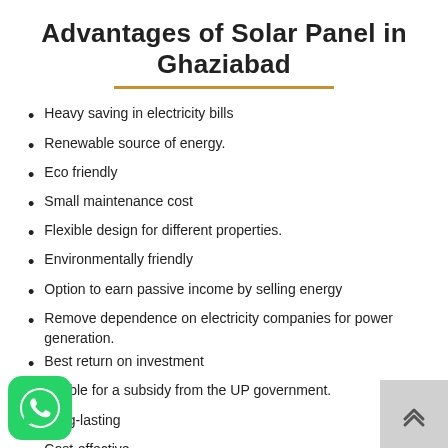Advantages of Solar Panel in Ghaziabad
Heavy saving in electricity bills
Renewable source of energy.
Eco friendly
Small maintenance cost
Flexible design for different properties.
Environmentally friendly
Option to earn passive income by selling energy
Remove dependence on electricity companies for power generation.
Best return on investment
eligible for a subsidy from the UP government.
Long-lasting
Cost-effective
[Figure (logo): WhatsApp green icon button at bottom left]
[Figure (other): Scroll-to-top button with upward chevron arrows at bottom right]